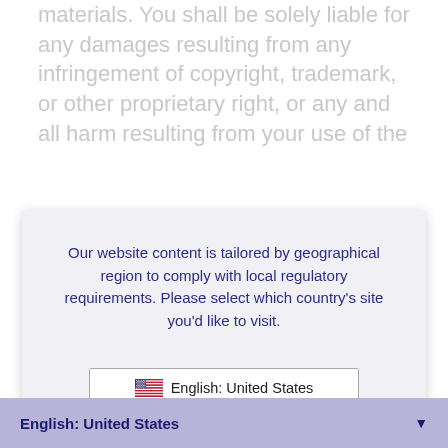materials. You shall be solely liable for any damages resulting from any infringement of copyright, trademark, or other proprietary right, or any and all harm resulting from your use of the
[Figure (screenshot): Modal dialog box with purple/navy text on light gray background, asking user to select their country's website. Contains three options in a bordered box: 'English: United States' with US flag, 'English: Canada' with Canadian flag, 'Français (French): Canada' with Canadian flag.]
property of Milestone or third parties. Except as otherwise e
English: United States